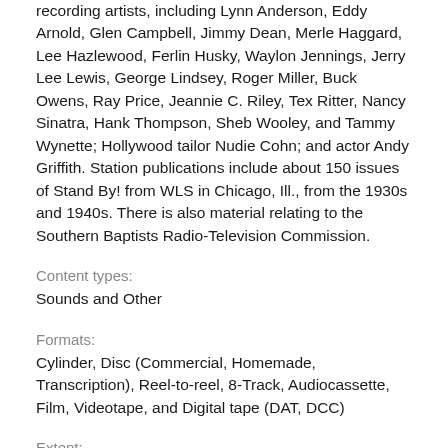recording artists, including Lynn Anderson, Eddy Arnold, Glen Campbell, Jimmy Dean, Merle Haggard, Lee Hazlewood, Ferlin Husky, Waylon Jennings, Jerry Lee Lewis, George Lindsey, Roger Miller, Buck Owens, Ray Price, Jeannie C. Riley, Tex Ritter, Nancy Sinatra, Hank Thompson, Sheb Wooley, and Tammy Wynette; Hollywood tailor Nudie Cohn; and actor Andy Griffith. Station publications include about 150 issues of Stand By! from WLS in Chicago, Ill., from the 1930s and 1940s. There is also material relating to the Southern Baptists Radio-Television Commission.
Content types:
Sounds and Other
Formats:
Cylinder, Disc (Commercial, Homemade, Transcription), Reel-to-reel, 8-Track, Audiocassette, Film, Videotape, and Digital tape (DAT, DCC)
Extent: